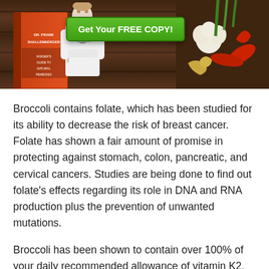[Figure (illustration): Banner image on dark wood background showing a doctor in white coat, a book cover, a green 'Get Your FREE COPY!' button, and vegetables (peppers, garlic, ginger) on the right side.]
Broccoli contains folate, which has been studied for its ability to decrease the risk of breast cancer. Folate has shown a fair amount of promise in protecting against stomach, colon, pancreatic, and cervical cancers. Studies are being done to find out folate's effects regarding its role in DNA and RNA production plus the prevention of unwanted mutations.
Broccoli has been shown to contain over 100% of your daily recommended allowance of vitamin K2, which will help with improved bone health. Just one cup of chopped broccoli is needed. K2 helps enhance calcium absorption and reduces the excretion of calcium in the